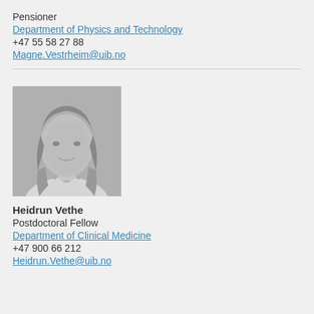Pensioner
Department of Physics and Technology
+47 55 58 27 88
Magne.Vestrheim@uib.no
[Figure (photo): Black and white portrait photo of Heidrun Vethe, a woman with long hair and a necklace, smiling]
Heidrun Vethe
Postdoctoral Fellow
Department of Clinical Medicine
+47 900 66 212
Heidrun.Vethe@uib.no